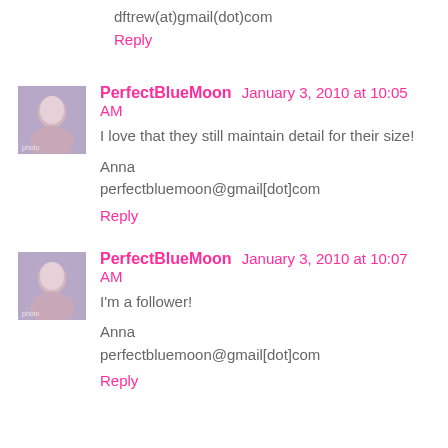dftrew(at)gmail(dot)com
Reply
PerfectBlueMoon January 3, 2010 at 10:05 AM
I love that they still maintain detail for their size!
Anna
perfectbluemoon@gmail[dot]com
Reply
PerfectBlueMoon January 3, 2010 at 10:07 AM
I'm a follower!
Anna
perfectbluemoon@gmail[dot]com
Reply